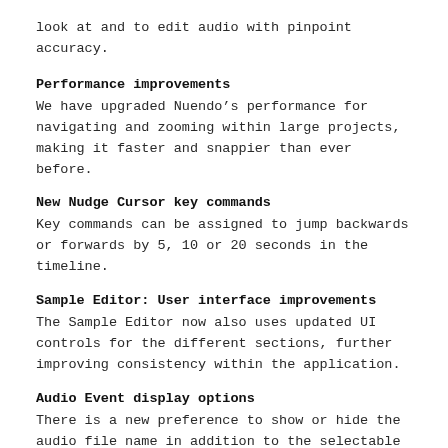look at and to edit audio with pinpoint accuracy.
Performance improvements
We have upgraded Nuendo’s performance for navigating and zooming within large projects, making it faster and snappier than ever before.
New Nudge Cursor key commands
Key commands can be assigned to jump backwards or forwards by 5, 10 or 20 seconds in the timeline.
Sample Editor: User interface improvements
The Sample Editor now also uses updated UI controls for the different sections, further improving consistency within the application.
Audio Event display options
There is a new preference to show or hide the audio file name in addition to the selectable attribute. The clip name (generally the file name) is displayed beside the selected event attributes in brackets.
Zoom and scroll with trackpad, Magic Mouse and mouse